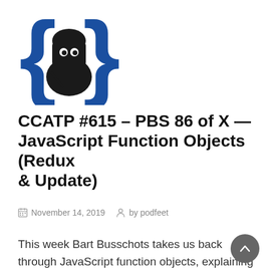[Figure (logo): Coding ninja logo: a ninja character inside blue curly braces { }]
CCATP #615 – PBS 86 of X — JavaScript Function Objects (Redux & Update)
November 14, 2019  by podfeet
This week Bart Busschots takes us back through JavaScript function objects, explaining the three different ways to define a function. It was great to have them all together to refresh our memory. He